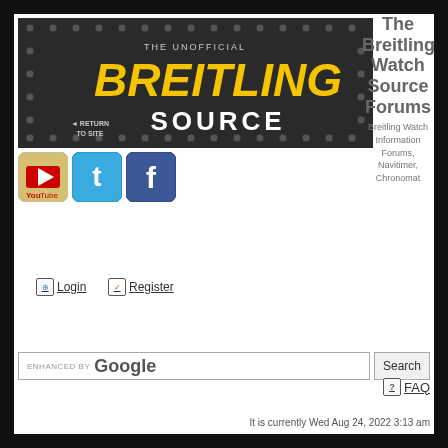[Figure (logo): The Unofficial Breitling Source banner with yellow BREITLING text and white SOURCE text on dark metallic background, with Return to Site link and rivets]
[Figure (logo): YouTube icon - red and white logo]
[Figure (logo): Twitter bird icon - blue]
[Figure (logo): Facebook f icon - blue]
The Breitling Watch Source Forums
Breitling Watch Information Forums, Navitimer, Chronomat
ENHANCED BY Google
Search
Login
Register
FAQ
It is currently Wed Aug 24, 2022 3:13 am